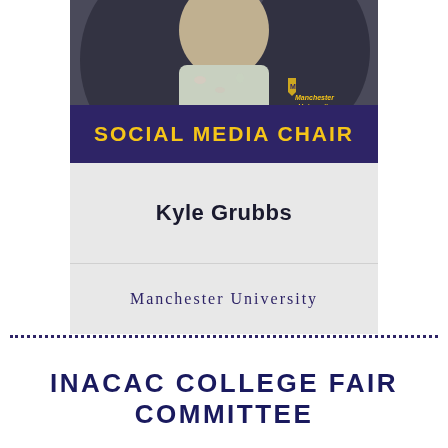[Figure (photo): Portrait photo of Kyle Grubbs, partially visible, wearing a floral top against a dark background, with Manchester University logo visible]
SOCIAL MEDIA CHAIR
Kyle Grubbs
Manchester University
INACAC COLLEGE FAIR COMMITTEE